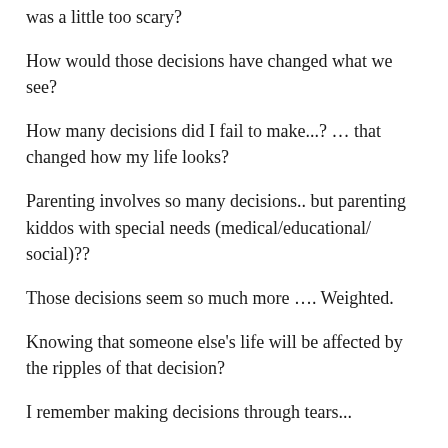was a little too scary?
How would those decisions have changed what we see?
How many decisions did I fail to make...? … that changed how my life looks?
Parenting involves so many decisions.. but parenting kiddos with special needs (medical/educational/ social)??
Those decisions seem so much more …. Weighted.
Knowing that someone else's life will be affected by the ripples of that decision?
I remember making decisions through tears...
… and I remember NOT making decisions.. with those same tears..